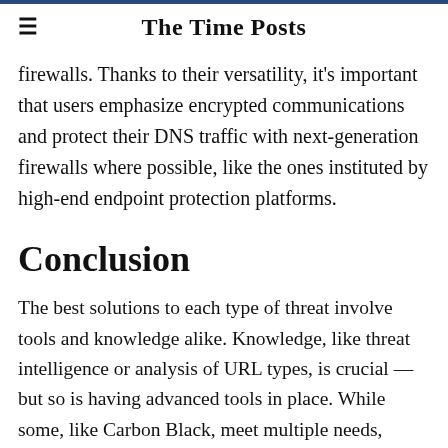The Time Posts
firewalls. Thanks to their versatility, it's important that users emphasize encrypted communications and protect their DNS traffic with next-generation firewalls where possible, like the ones instituted by high-end endpoint protection platforms.
Conclusion
The best solutions to each type of threat involve tools and knowledge alike. Knowledge, like threat intelligence or analysis of URL types, is crucial — but so is having advanced tools in place. While some, like Carbon Black, meet multiple needs, others like SentinelOne are designed to address all threat ty... in proven, modern ways. If you're looking to defend